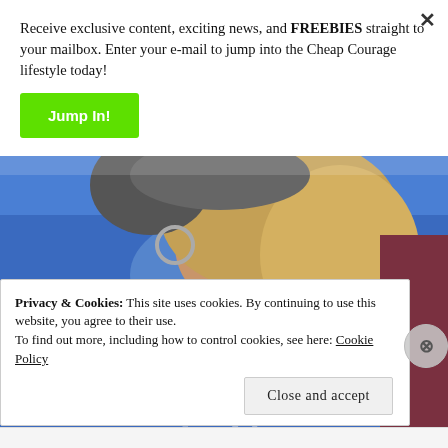×
Receive exclusive content, exciting news, and FREEBIES straight to your mailbox. Enter your e-mail to jump into the Cheap Courage lifestyle today!
Jump In!
[Figure (photo): A person wearing a blue t-shirt with blonde hair, shown from shoulders up, wearing hoop earrings.]
⊗
Privacy & Cookies: This site uses cookies. By continuing to use this website, you agree to their use.
To find out more, including how to control cookies, see here: Cookie Policy
Close and accept